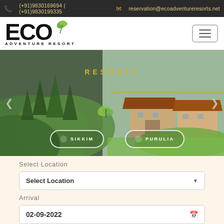(+91)9830169694 | (+91)9830199335  reservation@ecoadventureresorts.net
[Figure (logo): ECO Adventure Resort logo with green leaf icon]
[Figure (photo): Hero banner showing green hillside and resort buildings with RESORTS label, SIKKIM and PURULIA location buttons]
Select Location
Select Location
Arrival
02-09-2022